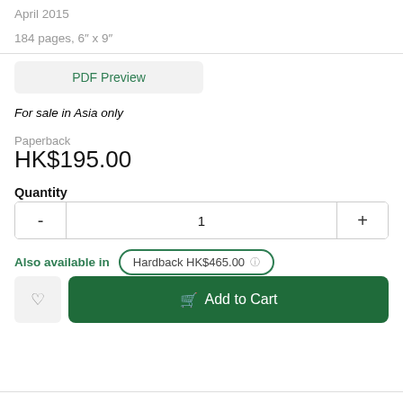April 2015
184 pages, 6" x 9"
PDF Preview
For sale in Asia only
Paperback
HK$195.00
Quantity
1
Also available in  Hardback HK$465.00
Add to Cart